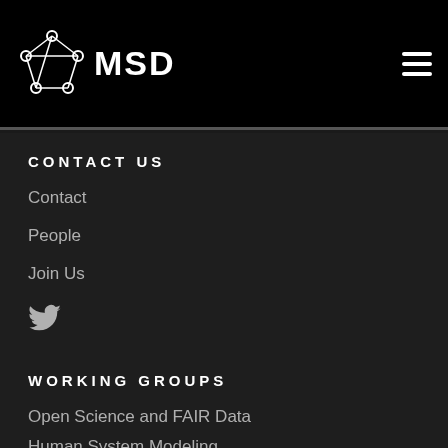MSD
CONTACT US
Contact
People
Join Us
[Figure (logo): Twitter bird icon]
WORKING GROUPS
Open Science and FAIR Data
Human System Modeling